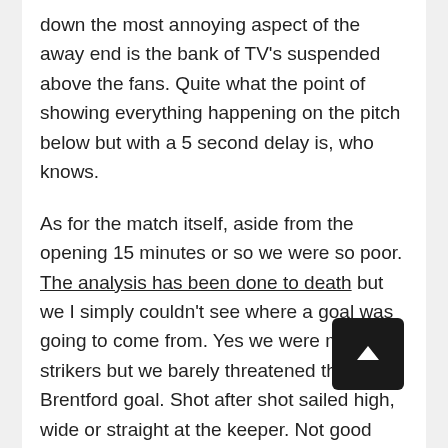down the most annoying aspect of the away end is the bank of TV's suspended above the fans. Quite what the point of showing everything happening on the pitch below but with a 5 second delay is, who knows.
As for the match itself, aside from the opening 15 minutes or so we were so poor. The analysis has been done to death but we I simply couldn't see where a goal was going to come from. Yes we were missing strikers but we barely threatened the Brentford goal. Shot after shot sailed high, wide or straight at the keeper. Not good enough at this level and far from the start we wanted. And there was something very "stokey" about their second goal as well. Leno was fouled but the ball was allowed to bounce and then was bundled in. All from a long throw